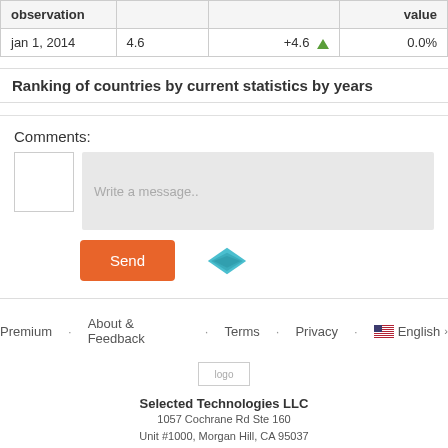| observation |  |  | value |
| --- | --- | --- | --- |
| jan 1, 2014 | 4.6 | +4.6 ▲ | 0.0% |
Ranking of countries by current statistics by years
Comments:
[Figure (screenshot): Comment input area with avatar box, message placeholder 'Write a message..', Send button, and diamond-shaped icon]
Premium · About & Feedback · Terms · Privacy · English >
[Figure (logo): Company logo placeholder]
Selected Technologies LLC
1057 Cochrane Rd Ste 160
Unit #1000, Morgan Hill, CA 95037